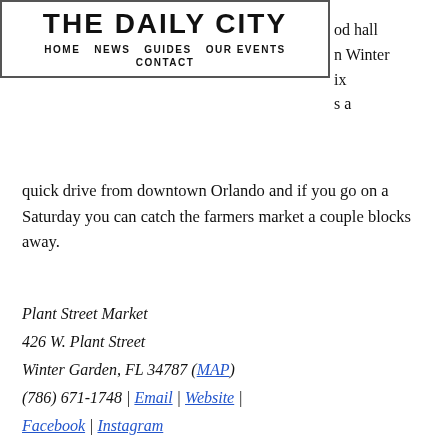THE DAILY CITY — HOME | NEWS | GUIDES | OUR EVENTS | CONTACT
quick drive from downtown Orlando and if you go on a Saturday you can catch the farmers market a couple blocks away.
Plant Street Market
426 W. Plant Street
Winter Garden, FL 34787 (MAP)
(786) 671-1748 | Email | Website | Facebook | Instagram